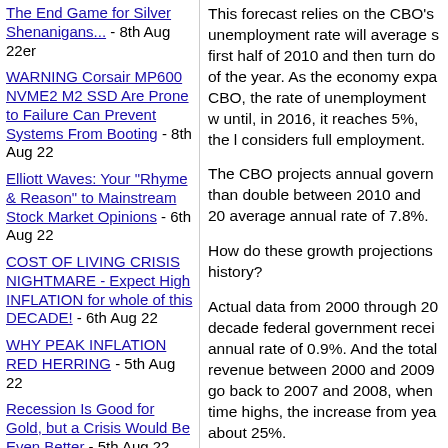The End Game for Silver Shenanigans... - 8th Aug 22er
WARNING Corsair MP600 NVME2 M2 SSD Are Prone to Failure Can Prevent Systems From Booting - 8th Aug 22
Elliott Waves: Your "Rhyme & Reason" to Mainstream Stock Market Opinions - 6th Aug 22
COST OF LIVING CRISIS NIGHTMARE - Expect High INFLATION for whole of this DECADE! - 6th Aug 22
WHY PEAK INFLATION RED HERRING - 5th Aug 22
Recession Is Good for Gold, but a Crisis Would Be Even Better - 5th Aug 22
Stock Market Rallying On Slowly Thinning Air - 5th Aug 22
SILVER'S BAD BREAK -
This forecast relies on the CBO's unemployment rate will average s first half of 2010 and then turn do of the year. As the economy expa CBO, the rate of unemployment w until, in 2016, it reaches 5%, the l considers full employment.
The CBO projects annual govern than double between 2010 and 20 average annual rate of 7.8%.
How do these growth projections history?
Actual data from 2000 through 20 decade federal government recei annual rate of 0.9%. And the total revenue between 2000 and 2009 go back to 2007 and 2008, when time highs, the increase from yea about 25%.
Given the historical record, are we believe government revenue will g clip of nearly 8% from now until 2